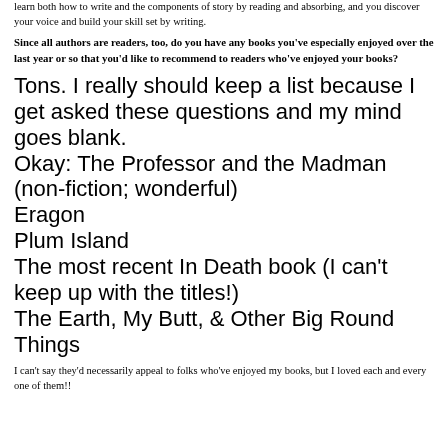learn both how to write and the components of story by reading and absorbing, and you discover your voice and build your skill set by writing.
Since all authors are readers, too, do you have any books you've especially enjoyed over the last year or so that you'd like to recommend to readers who've enjoyed your books?
Tons. I really should keep a list because I get asked these questions and my mind goes blank.
Okay: The Professor and the Madman (non-fiction; wonderful)
Eragon
Plum Island
The most recent In Death book (I can't keep up with the titles!)
The Earth, My Butt, & Other Big Round Things
I can't say they'd necessarily appeal to folks who've enjoyed my books, but I loved each and every one of them!!